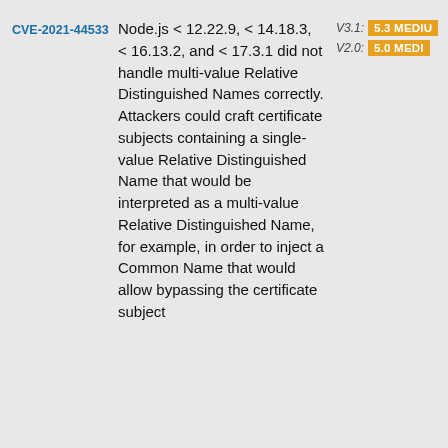| CVE ID | Description | Score |
| --- | --- | --- |
| CVE-2021-44533 | Node.js < 12.22.9, < 14.18.3, < 16.13.2, and < 17.3.1 did not handle multi-value Relative Distinguished Names correctly. Attackers could craft certificate subjects containing a single-value Relative Distinguished Name that would be interpreted as a multi-value Relative Distinguished Name, for example, in order to inject a Common Name that would allow bypassing the certificate subject | V3.1: 5.3 MEDIUM
V2.0: 5.0 MEDIUM |